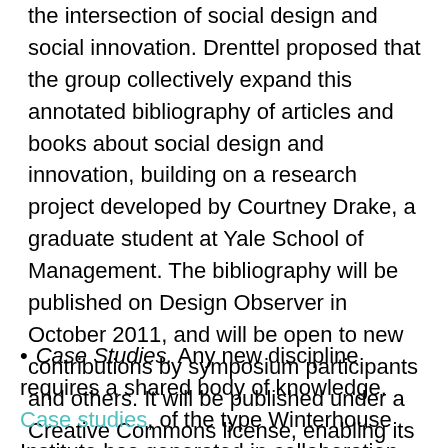the intersection of social design and social innovation. Drenttel proposed that the group collectively expand this annotated bibliography of articles and books about social design and innovation, building on a research project developed by Courtney Drake, a graduate student at Yale School of Management. The bibliography will be published on Design Observer in October 2011, and will be open to new contributions by symposium participants and others. It will be published under a Creative Commons license, enabling its broad dissemination and use. To jump start this project, symposium participants agreed to contribute on new entry each before November 2011.
Case Studies. Any new discipline requires a shared body of knowledge. Case studies, of the type Winterhouse Institute has generated in collaboration with Yale School of Management (and with the support of the Rockefeller Foundation), were again discussed as important documentary and pedagogical tools. At